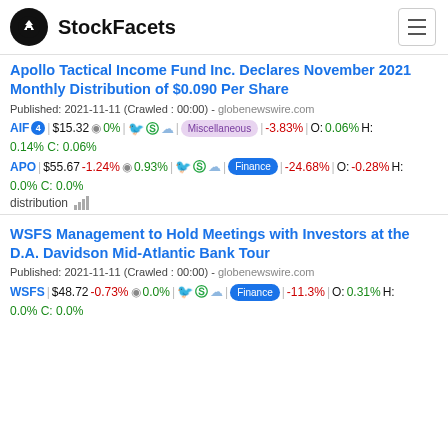StockFacets
Apollo Tactical Income Fund Inc. Declares November 2021 Monthly Distribution of $0.090 Per Share
Published: 2021-11-11 (Crawled : 00:00) - globenewswire.com
AIF 4 | $15.32 0% | | Miscellaneous | -3.83% | O: 0.06% H: 0.14% C: 0.06%
APO | $55.67 -1.24% 0.93% | | Finance | -24.68% | O: -0.28% H: 0.0% C: 0.0%
distribution
WSFS Management to Hold Meetings with Investors at the D.A. Davidson Mid-Atlantic Bank Tour
Published: 2021-11-11 (Crawled : 00:00) - globenewswire.com
WSFS | $48.72 -0.73% 0.0% | | Finance | -11.3% | O: 0.31% H: 0.0% C: 0.0%